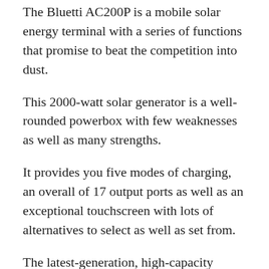The Bluetti AC200P is a mobile solar energy terminal with a series of functions that promise to beat the competition into dust.
This 2000-watt solar generator is a well-rounded powerbox with few weaknesses as well as many strengths.
It provides you five modes of charging, an overall of 17 output ports as well as an exceptional touchscreen with lots of alternatives to select as well as set from.
The latest-generation, high-capacity lithium iron phosphate battery guarantees around 3500 charge cycles, as well as it is far more safe to the setting than typical lithium-polymer and also